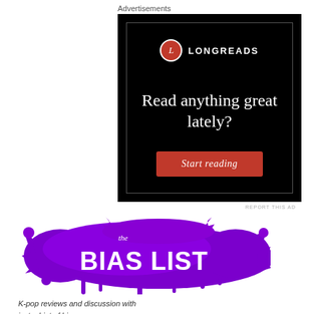Advertisements
[Figure (screenshot): Longreads advertisement banner on black background with logo, tagline 'Read anything great lately?' and a red 'Start reading' button with inner border]
REPORT THIS AD
[Figure (logo): The Bias List logo: purple paint splatter background with 'the' in white italic and 'BIAS LIST' in large white bold uppercase text]
K-pop reviews and discussion with just a hint of bias...